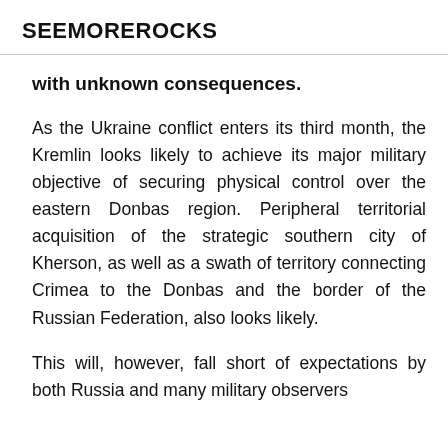SEEMOREROCKS
with unknown consequences.
As the Ukraine conflict enters its third month, the Kremlin looks likely to achieve its major military objective of securing physical control over the eastern Donbas region. Peripheral territorial acquisition of the strategic southern city of Kherson, as well as a swath of territory connecting Crimea to the Donbas and the border of the Russian Federation, also looks likely.
This will, however, fall short of expectations by both Russia and many military observers